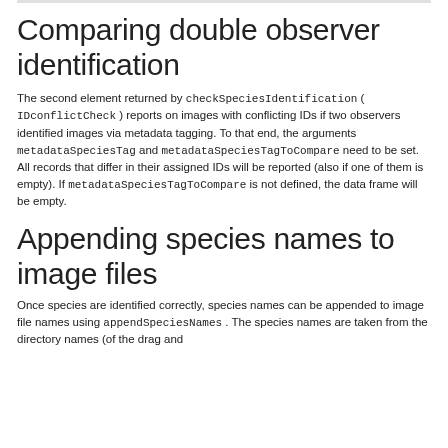Comparing double observer identification
The second element returned by checkSpeciesIdentification ( IDconflictCheck ) reports on images with conflicting IDs if two observers identified images via metadata tagging. To that end, the arguments metadataSpeciesTag and metadataSpeciesTagToCompare need to be set. All records that differ in their assigned IDs will be reported (also if one of them is empty). If metadataSpeciesTagToCompare is not defined, the data frame will be empty.
Appending species names to image files
Once species are identified correctly, species names can be appended to image file names using appendSpeciesNames . The species names are taken from the directory names (of the drag and